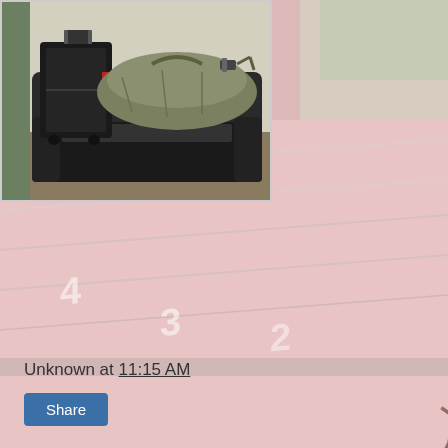[Figure (photo): Background image of a running track (red/pink tones) with an athlete sprinting, faded/washed out appearance. Overlaid in top-left is a smaller photo of a couch/sofa with a black rolling suitcase and an olive-green duffel bag sitting on it, in what appears to be a waiting room.]
Unknown at 11:15 AM
Share